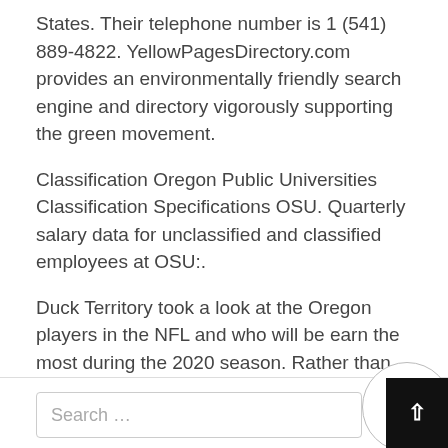States. Their telephone number is 1 (541) 889-4822. YellowPagesDirectory.com provides an environmentally friendly search engine and directory vigorously supporting the green movement.
Classification Oregon Public Universities Classification Specifications OSU. Quarterly salary data for unclassified and classified employees at OSU:.
Duck Territory took a look at the Oregon players in the NFL and who will be earn the most during the 2020 season. Rather than.